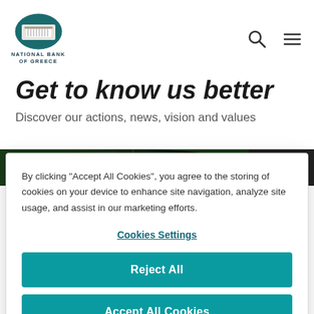NATIONAL BANK OF GREECE
Get to know us better
Discover our actions, news, vision and values
[Figure (photo): Aerial view of a forested road with dark background strip]
By clicking "Accept All Cookies", you agree to the storing of cookies on your device to enhance site navigation, analyze site usage, and assist in our marketing efforts.
Cookies Settings
Reject All
Accept All Cookies